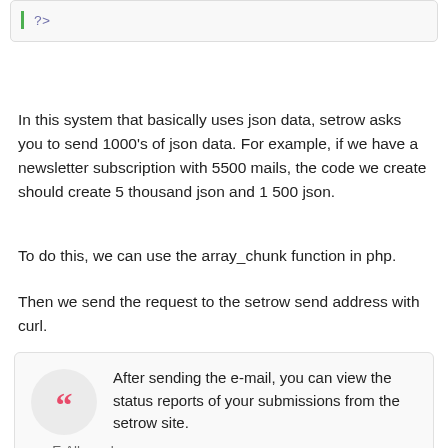[Figure (screenshot): Code block showing PHP closing tag '?>' with green left border on light gray background]
In this system that basically uses json data, setrow asks you to send 1000's of json data. For example, if we have a newsletter subscription with 5500 mails, the code we create should create 5 thousand json and 1 500 json.
To do this, we can use the array_chunk function in php.
Then we send the request to the setrow send address with curl.
After sending the e-mail, you can view the status reports of your submissions from the setrow site. — E.Albayrak